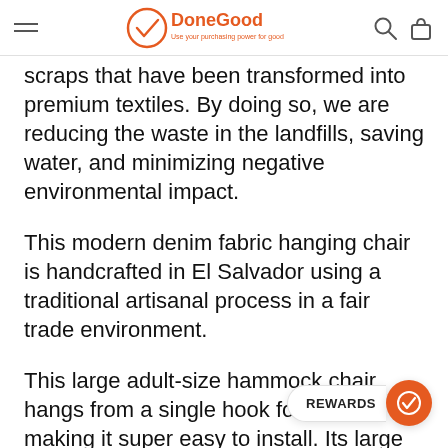DoneGood — Use your purchasing power for good
scraps that have been transformed into premium textiles. By doing so, we are reducing the waste in the landfills, saving water, and minimizing negative environmental impact.
This modern denim fabric hanging chair is handcrafted in El Salvador using a traditional artisanal process in a fair trade environment.
This large adult-size hammock chair hangs from a single hook for support, making it super easy to install. Its large wood spreader bar provides the ideal area that you need and the surface area of the hammock is pe... cradle you comfortably. This hammock swing